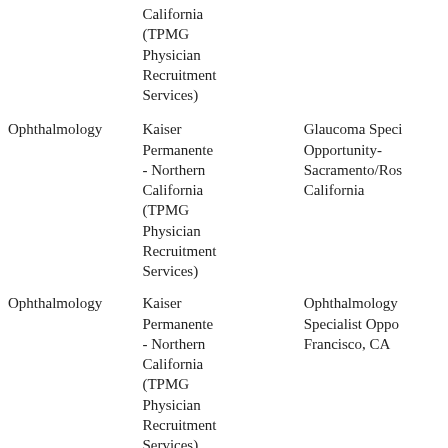| Specialty | Employer | Job Title |
| --- | --- | --- |
|  | California (TPMG Physician Recruitment Services) |  |
| Ophthalmology | Kaiser Permanente - Northern California (TPMG Physician Recruitment Services) | Glaucoma Specialist Opportunity- Sacramento/Roseville, California |
| Ophthalmology | Kaiser Permanente - Northern California (TPMG Physician Recruitment Services) | Ophthalmology Specialist Opportunity- San Francisco, CA |
| Ophthalmology | Kaiser Permanente - Northern California (TPMG Physician Recruitment Services) | Ophthalmologist (Per Diem) Physician Opportunity- Sa... |